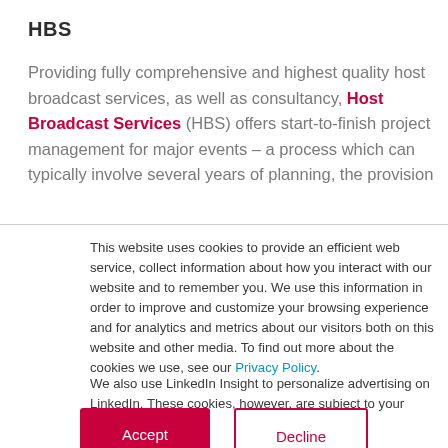HBS
Providing fully comprehensive and highest quality host broadcast services, as well as consultancy, Host Broadcast Services (HBS) offers start-to-finish project management for major events – a process which can typically involve several years of planning, the provision
This website uses cookies to provide an efficient web service, collect information about how you interact with our website and to remember you. We use this information in order to improve and customize your browsing experience and for analytics and metrics about our visitors both on this website and other media. To find out more about the cookies we use, see our Privacy Policy.

We also use LinkedIn Insight to personalize advertising on LinkedIn. These cookies, however, are subject to your consent.